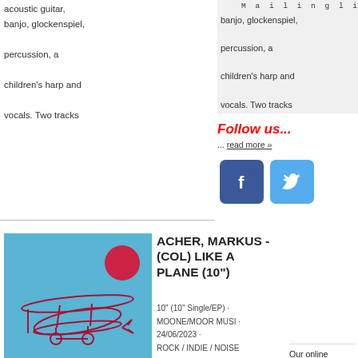acoustic guitar, banjo, glockenspiel, percussion, a children's harp and vocals. Two tracks
Mailinglist
Follow us...
... read more »
[Figure (logo): Facebook logo icon - blue square with white F]
[Figure (logo): Twitter logo icon - light blue square with white bird]
ACHER, MARKUS - (COL) LIKE A PLANE (10")
[Figure (photo): Album cover: light blue background with red/maroon outline drawing of a biplane and a red circle, Toom label]
10" (10" Single/EP) · MOONE/MOOR MUSI · 24/06/2023 · ROCK / INDIE / NOISE
COLOURED VINYL edition on this 10-inch EP the singer of The Notwist presents four tracks which he recorded in his old apartment in Munich. The songs are arranged
[Figure (logo): Shiny Beast music mailorder logo - vinyl record graphic with SHINY BEAST text]
Our online webshop & music mailorder website:
SHINY BEAST
Check it out!
We ship worldwide!